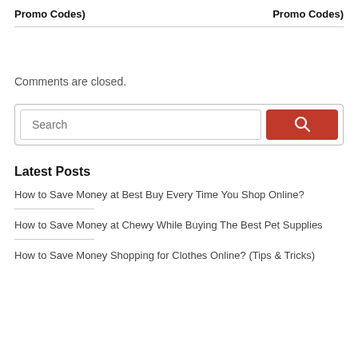Promo Codes)    Promo Codes)
Comments are closed.
[Figure (other): Search bar with text input field showing placeholder 'Search' and a red search button with magnifying glass icon]
Latest Posts
How to Save Money at Best Buy Every Time You Shop Online?
How to Save Money at Chewy While Buying The Best Pet Supplies
How to Save Money Shopping for Clothes Online? (Tips & Tricks)